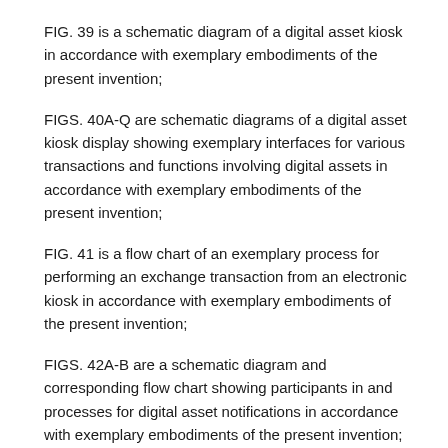FIG. 39 is a schematic diagram of a digital asset kiosk in accordance with exemplary embodiments of the present invention;
FIGS. 40A-Q are schematic diagrams of a digital asset kiosk display showing exemplary interfaces for various transactions and functions involving digital assets in accordance with exemplary embodiments of the present invention;
FIG. 41 is a flow chart of an exemplary process for performing an exchange transaction from an electronic kiosk in accordance with exemplary embodiments of the present invention;
FIGS. 42A-B are a schematic diagram and corresponding flow chart showing participants in and processes for digital asset notifications in accordance with exemplary embodiments of the present invention;
FIGS. 43A-B are exemplary screen shots associated with setting digital asset notification in accordance with exemplary embodiments of the present invention;